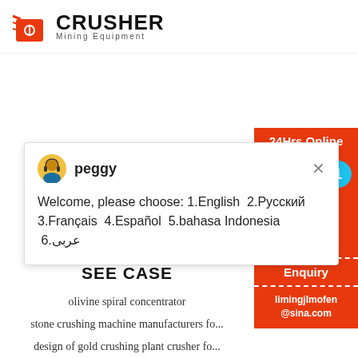[Figure (logo): Crusher Mining Equipment logo with red shopping bag icon and bold CRUSHER text]
[Figure (screenshot): Chat popup with agent peggy showing welcome message in multiple languages]
[Figure (infographic): 24Hrs Online red sidebar with chat now button, badge showing 1, Enquiry section, and email limingjlmofen@sina.com]
SEE CASE
olivine spiral concentrator
stone crushing machine manufacturers fo...
design of gold crushing plant crusher fo...